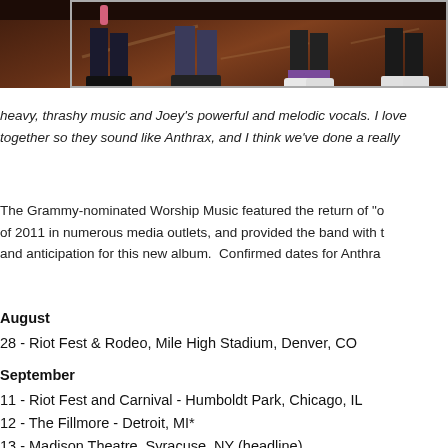[Figure (photo): Band photo showing legs and feet of band members on a stage/platform with dark background]
heavy, thrashy music and Joey's powerful and melodic vocals. I love together so they sound like Anthrax, and I think we've done a really
The Grammy-nominated Worship Music featured the return of "o of 2011 in numerous media outlets, and provided the band with t and anticipation for this new album.  Confirmed dates for Anthra
August
28 - Riot Fest & Rodeo, Mile High Stadium, Denver, CO
September
11 - Riot Fest and Carnival - Humboldt Park, Chicago, IL
12 - The Fillmore - Detroit, MI*
13 - Madison Theatre, Syracuse, NY (headline)